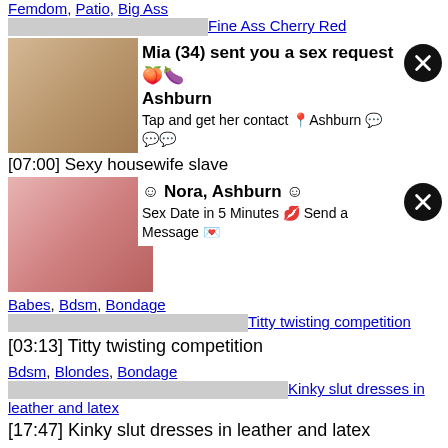[truncated top links: Femdom, Patio, Big Ass]
Fine Ass Cherry Red [image placeholder]
[0...] [A...] [image]
[Figure (photo): Ad popup: woman photo with close button, text: Mia (34) sent you a sex request Ashburn. Tap and get her contact Ashburn.]
[07:00] Sexy housewife slave
[Figure (photo): Ad popup: woman selfie photo with close button, text: Nora, Ashburn. Sex Date in 5 Minutes Send a Message.]
Be... [image]
[0...]
Babes, Bdsm, Bondage
Titty twisting competition [image placeholder]
[03:13] Titty twisting competition
Bdsm, Blondes, Bondage
Kinky slut dresses in leather and latex [image placeholder]
[17:47] Kinky slut dresses in leather and latex
Bdsm, Brunettes, Dress
Naughty young hustler tied up and opens sweet pussy for some [image placeholder]